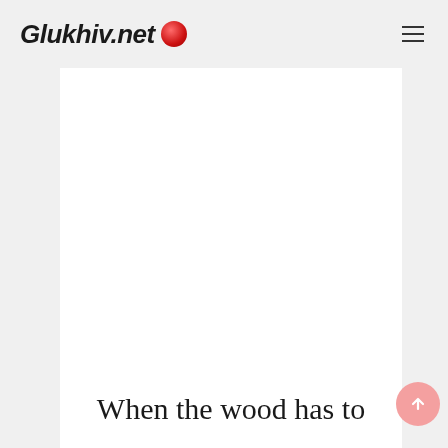Glukhiv.net
[Figure (other): Large white content/image area placeholder in the center of the page]
When the wood has to